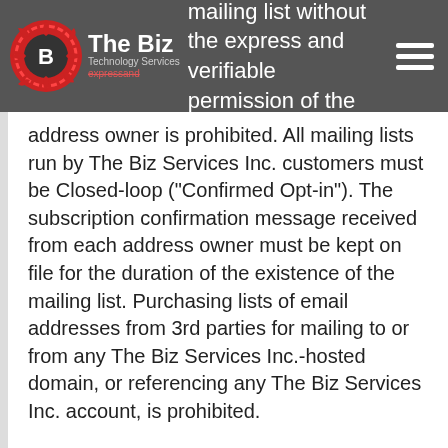esses to any mailing list without the express and verifiable permission of the email
address owner is prohibited. All mailing lists run by The Biz Services Inc. customers must be Closed-loop ("Confirmed Opt-in"). The subscription confirmation message received from each address owner must be kept on file for the duration of the existence of the mailing list. Purchasing lists of email addresses from 3rd parties for mailing to or from any The Biz Services Inc.-hosted domain, or referencing any The Biz Services Inc. account, is prohibited.
Advertising, transmitting, or otherwise making available any software, program, product, or service that is designed to violate this AUP or the AUP of any other Internet Service Provider, which